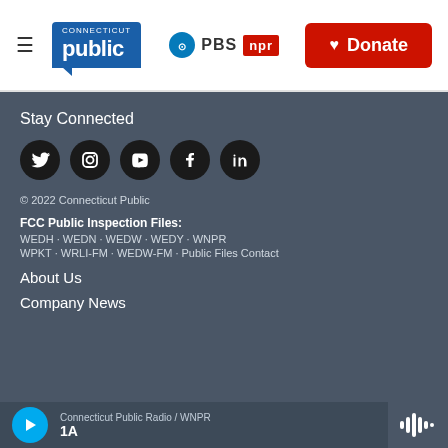[Figure (logo): Connecticut Public PBS NPR logo with hamburger menu and Donate button]
Stay Connected
[Figure (infographic): Social media icons: Twitter, Instagram, YouTube, Facebook, LinkedIn (black circles with white icons)]
© 2022 Connecticut Public
FCC Public Inspection Files: WEDH · WEDN · WEDW · WEDY · WNPR WPKT · WRLI-FM · WEDW-FM · Public Files Contact
About Us
Company News
Connecticut Public Radio / WNPR
1A